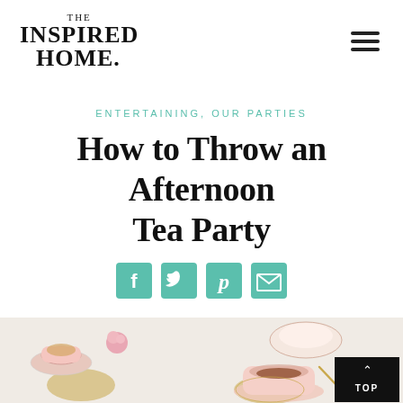[Figure (logo): The Inspired Home logo in serif bold text]
ENTERTAINING, OUR PARTIES
How to Throw an Afternoon Tea Party
[Figure (infographic): Social share icons: Facebook, Twitter, Pinterest, Email in teal/green square buttons]
[Figure (photo): Afternoon tea party table setting with floral teacups, pink roses, gold doilies, and cups of tea on a white tablecloth. Black TOP navigation button in bottom right corner.]